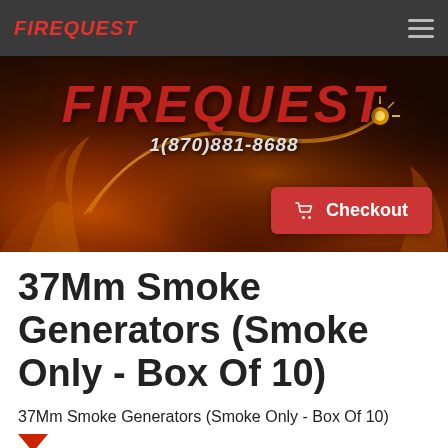FIREQUEST
[Figure (logo): Firequest logo with flame swirl graphic and phone number 1(870)881-8688 on dark flame background]
37Mm Smoke Generators (Smoke Only - Box Of 10)
37Mm Smoke Generators (Smoke Only - Box Of 10)